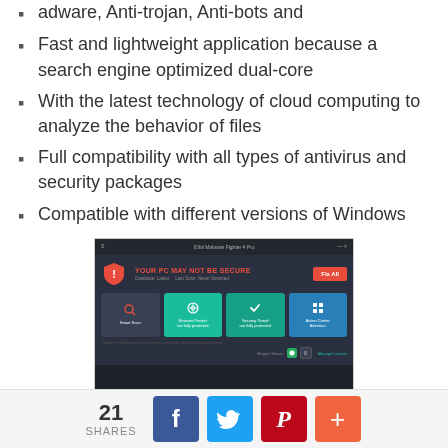adware, Anti-trojan, Anti-bots and
Fast and lightweight application because a search engine optimized dual-core
With the latest technology of cloud computing to analyze the behavior of files
Full compatibility with all types of antivirus and security packages
Compatible with different versions of Windows
[Figure (screenshot): IObit Malware Fighter 4 Pro application window showing security dashboard with 'YOUR PC MAY NOT BE SECURE' warning, Fix All button, Smart Scan, Browser Protect, Security Guard, and Action Center tiles]
21 SHARES
[Figure (infographic): Social share buttons: Facebook (f), Twitter (bird), Pinterest (P), and a plus (+) button]